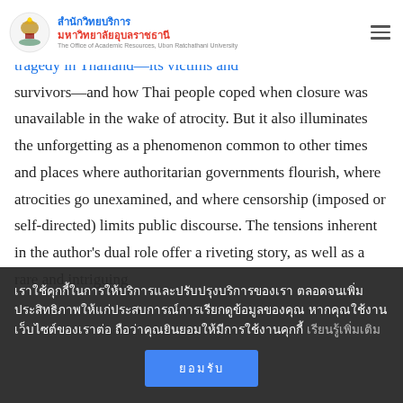สำนักวิทยบริการ มหาวิทยาลัยอุบลราชธานี — The Office of Academic Resources, Ubon Ratchathani University
counter-history. Moments of Silence tells the story of a tragedy in Thailand—its victims and survivors—and how Thai people coped when closure was unavailable in the wake of atrocity. But it also illuminates the unforgetting as a phenomenon common to other times and places where authoritarian governments flourish, where atrocities go unexamined, and where censorship (imposed or self-directed) limits public discourse. The tensions inherent in the author's dual role offer a riveting story, as well as a rare and intriguing
เราใช้คุกกี้ในการให้บริการและปรับปรุงบริการของเรา ตลอดจนเพิ่มประสิทธิภาพให้แก่ประสบการณ์การเรียกดูข้อมูลของคุณ หากคุณใช้งานเว็บไซต์ของเราต่อ ถือว่าคุณยินยอมให้มีการใช้งานคุกกี้ เรียนรู้เพิ่มเติม
ยอมรับ